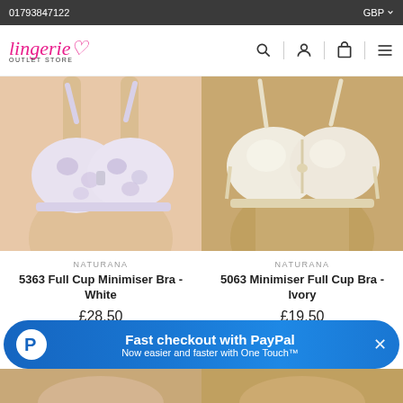01793847122 | GBP
[Figure (logo): Lingerie Outlet Store logo in pink cursive with heart, OUTLET STORE text below]
[Figure (photo): Naturana 5363 Full Cup Minimiser Bra in White with purple floral pattern on model]
[Figure (photo): Naturana 5063 Minimiser Full Cup Bra in Ivory satin on model]
NATURANA
5363 Full Cup Minimiser Bra - White
£28.50
NATURANA
5063 Minimiser Full Cup Bra - Ivory
£19.50
[Figure (infographic): PayPal Fast checkout banner: Fast checkout with PayPal - Now easier and faster with One Touch™]